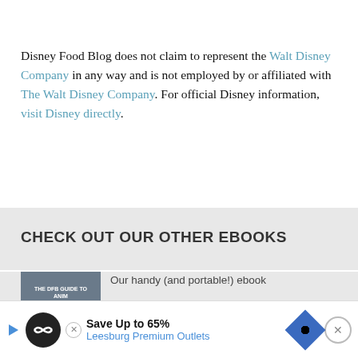Disney Food Blog does not claim to represent the Walt Disney Company in any way and is not employed by or affiliated with The Walt Disney Company. For official Disney information, visit Disney directly.
CHECK OUT OUR OTHER EBOOKS
Our handy (and portable!) ebook
[Figure (other): Advertisement banner: Save Up to 65% Leesburg Premium Outlets]